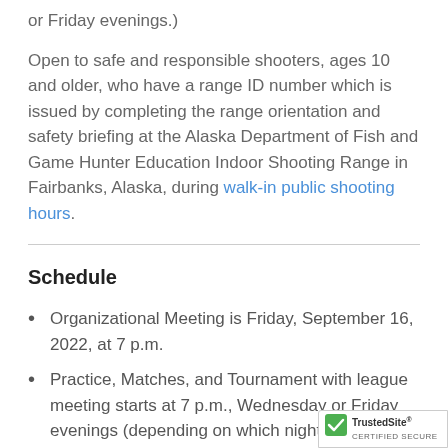or Friday evenings.)
Open to safe and responsible shooters, ages 10 and older, who have a range ID number which is issued by completing the range orientation and safety briefing at the Alaska Department of Fish and Game Hunter Education Indoor Shooting Range in Fairbanks, Alaska, during walk-in public shooting hours.
Schedule
Organizational Meeting is Friday, September 16, 2022, at 7 p.m.
Practice, Matches, and Tournament with league meeting starts at 7 p.m., Wednesday or Friday evenings (depending on which night shooter registered).
Awards and Potluck event scheduled for Fri...